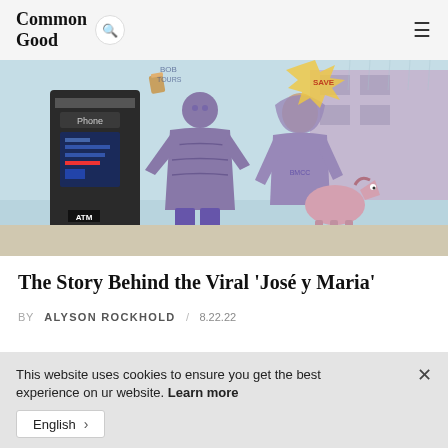Common Good
[Figure (illustration): Comic-style illustration of two urban characters near an ATM/phone kiosk. One figure stands wearing a puffy jacket, the other sits on a toy horse wearing a hoodie. Signs and a car visible in background. Muted purple and teal color palette.]
The Story Behind the Viral ‘José y Maria’
BY  ALYSON ROCKHOLD  /  8.22.22
This website uses cookies to ensure you get the best experience on ur website. Learn more
English >